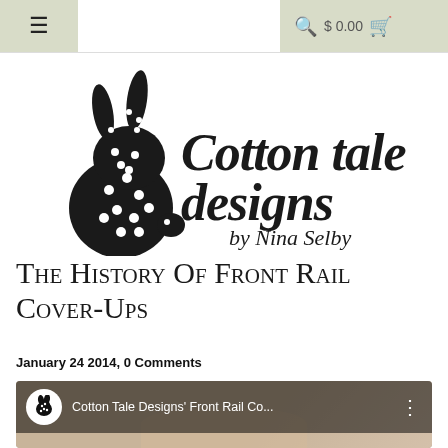☰   $ 0.00 🛒
[Figure (logo): Cotton Tale Designs by Nina Selby logo with polka-dot bunny silhouette and handwritten-style text]
The History of Front Rail Cover-Ups
January 24 2014, 0 Comments
[Figure (screenshot): YouTube video thumbnail showing Cotton Tale Designs' Front Rail Co... with woman in yellow shirt and video overlay bar with channel icon]